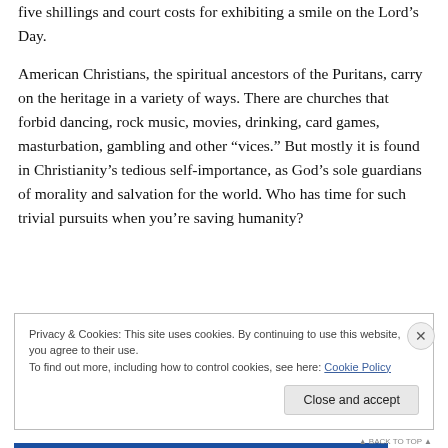five shillings and court costs for exhibiting a smile on the Lord's Day.
American Christians, the spiritual ancestors of the Puritans, carry on the heritage in a variety of ways. There are churches that forbid dancing, rock music, movies, drinking, card games, masturbation, gambling and other “vices.” But mostly it is found in Christianity’s tedious self-importance, as God’s sole guardians of morality and salvation for the world. Who has time for such trivial pursuits when you’re saving humanity?
Privacy & Cookies: This site uses cookies. By continuing to use this website, you agree to their use.
To find out more, including how to control cookies, see here: Cookie Policy
Close and accept